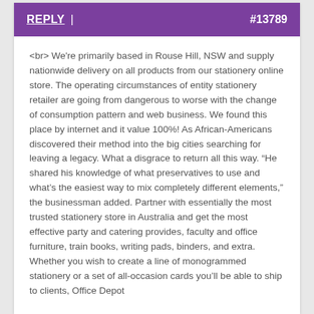REPLY | #13789
<br> We're primarily based in Rouse Hill, NSW and supply nationwide delivery on all products from our stationery online store. The operating circumstances of entity stationery retailer are going from dangerous to worse with the change of consumption pattern and web business. We found this place by internet and it value 100%! As African-Americans discovered their method into the big cities searching for leaving a legacy. What a disgrace to return all this way. “He shared his knowledge of what preservatives to use and what's the easiest way to mix completely different elements,” the businessman added. Partner with essentially the most trusted stationery store in Australia and get the most effective party and catering provides, faculty and office furniture, train books, writing pads, binders, and extra. Whether you wish to create a line of monogrammed stationery or a set of all-occasion cards you'll be able to ship to clients, Office Depot